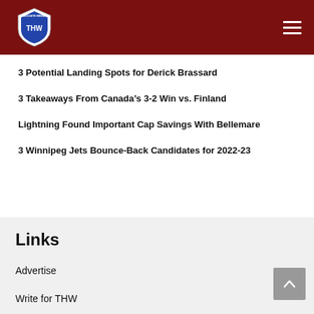THW - The Hockey Writers
3 Potential Landing Spots for Derick Brassard
3 Takeaways From Canada's 3-2 Win vs. Finland
Lightning Found Important Cap Savings With Bellemare
3 Winnipeg Jets Bounce-Back Candidates for 2022-23
Links
Advertise
Write for THW
Masthead